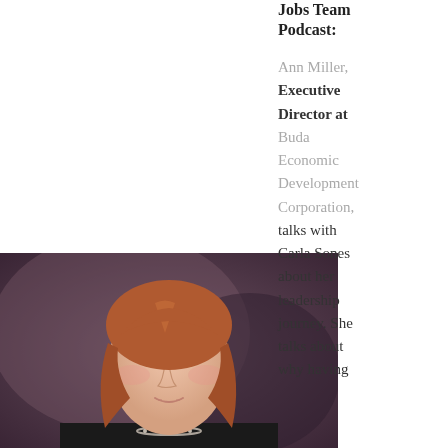Jobs Team Podcast:
Ann Miller, Executive Director at Buda Economic Development Corporation, talks with Carla Sones about her leadership journey. She talks about why having
[Figure (photo): Professional headshot of a woman with reddish-brown hair wearing a black blazer and pearl necklace, against a dark purple/brown studio background.]